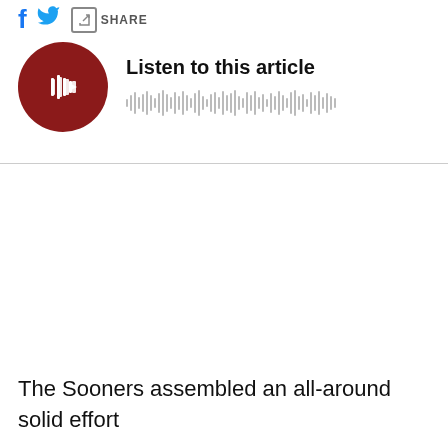[Figure (screenshot): Social share bar with Facebook icon (blue f), Twitter bird icon (blue), and a share box with SHARE label]
[Figure (screenshot): Audio player widget with dark red circular play button with white bars/play icon, text 'Listen to this article', and a waveform audio visualization bar]
The Sooners assembled an all-around solid effort